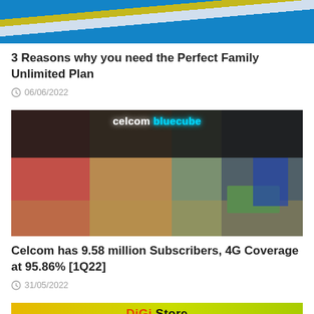[Figure (photo): Partial top of an article image showing colorful stripes (blue, yellow, white) — likely a promotional banner image, cropped at top]
3 Reasons why you need the Perfect Family Unlimited Plan
06/06/2022
[Figure (photo): Celcom Bluecube retail store interior with cyan neon sign reading 'celcom bluecube', red and brown interior walls, staff and customers, green service counters]
Celcom has 9.58 million Subscribers, 4G Coverage at 95.86% [1Q22]
31/05/2022
[Figure (photo): DiGi Store shopfront with yellow-green signage, partially cropped at bottom of page]